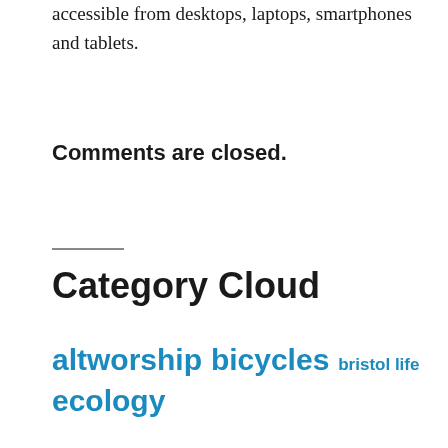accessible from desktops, laptops, smartphones and tablets.
Comments are closed.
Category Cloud
altworship bicycles bristol life ecology emerging church geekism good ole cofe humour linkery macolatry me media